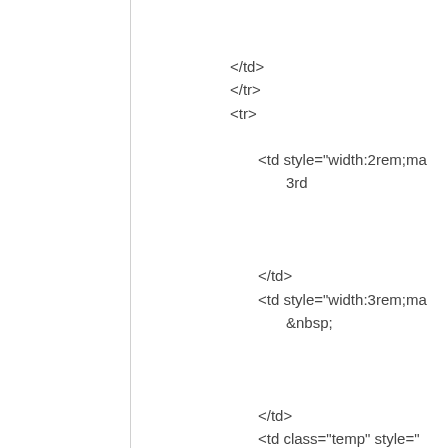</td>
</tr>
<tr>

    <td style="width:2rem;ma
        3rd


    </td>
    <td style="width:3rem;ma
        &nbsp;


    </td>
    <td class="temp" style="
        999


    </td>
    <td class="temp" style="
        10000